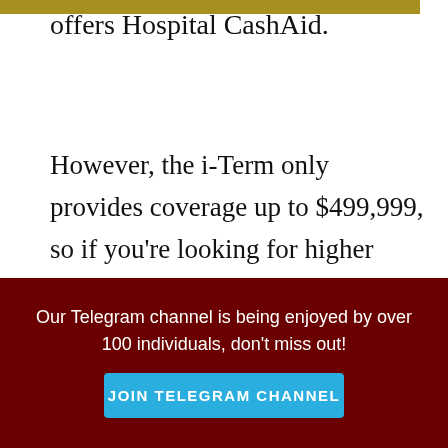offers Hospital CashAid.
However, the i-Term only provides coverage up to $499,999, so if you're looking for higher coverage from NTUC Income, the Term Life Solitaire is a better option for you.
It is also useful to take note that the NTUC Income I-Term plan does not offer convertibility
Our Telegram channel is being enjoyed by over 100 individuals, don't miss out!
JOIN TELEGRAM CHANNEL